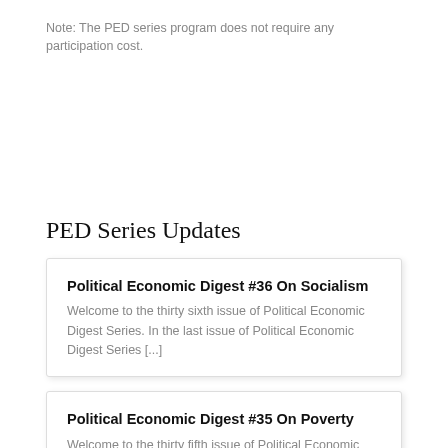Note: The PED series program does not require any participation cost.
PED Series Updates
Political Economic Digest #36 On Socialism
Welcome to the thirty sixth issue of Political Economic Digest Series. In the last issue of Political Economic Digest Series [...]
Political Economic Digest #35 On Poverty
Welcome to the thirty fifth issue of Political Economic Digest Series. In the last issue of Political Economic Digest Series [...]